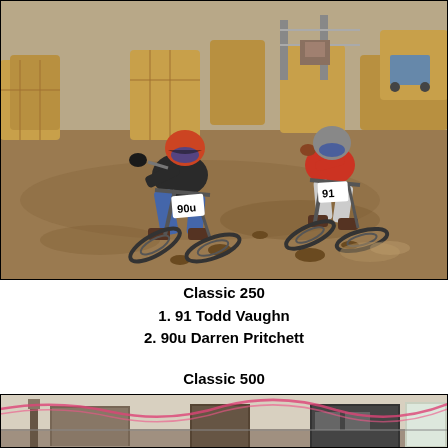[Figure (photo): Two motocross riders on dirt bikes navigating a dirt track with hay bale obstacles. Rider on left wears black gear with helmet and rides bike #90u. Rider on right wears red top with grey pants and rides bike #91.]
Classic 250
1. 91 Todd Vaughn
2. 90u Darren Pritchett
Classic 500
[Figure (photo): Partial view of a flat track or fairground racing venue, showing buildings and barriers with pink/red decorative roping or streamers visible across the top of the image.]